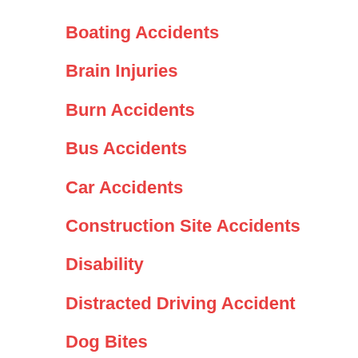Boating Accidents
Brain Injuries
Burn Accidents
Bus Accidents
Car Accidents
Construction Site Accidents
Disability
Distracted Driving Accident
Dog Bites
DUI Victim